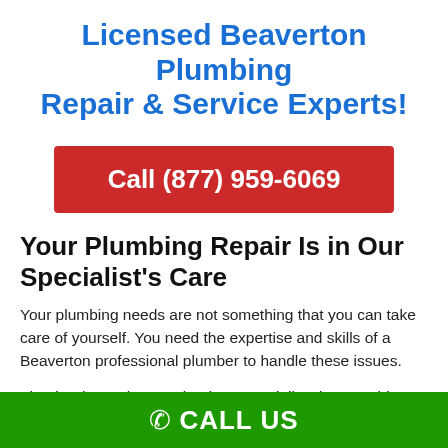Licensed Beaverton Plumbing Repair & Service Experts!
Call (877) 959-6069
Your Plumbing Repair Is in Our Specialist's Care
Your plumbing needs are not something that you can take care of yourself. You need the expertise and skills of a Beaverton professional plumber to handle these issues.
That is why we have trained our specialists in everything from water heater repairs, toilet installation, and leak detection – so they will be prepared for any situation. Our goal is to provide the best
CALL US